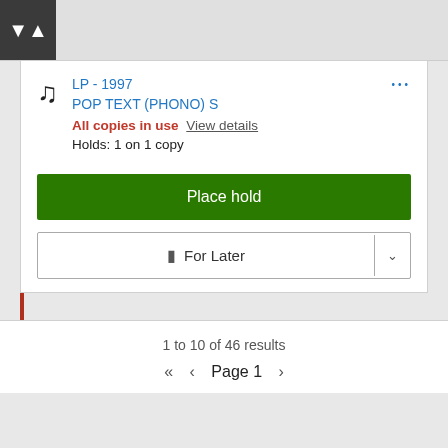[Figure (screenshot): Library catalog search result showing an LP from 1997 in POP TEXT (PHONO) S section, with 'All copies in use' status, Place hold button, and For Later button]
LP - 1997
POP TEXT (PHONO) S
All copies in use View details
Holds: 1 on 1 copy
Place hold
For Later
1 to 10 of 46 results
«  <  Page 1  >